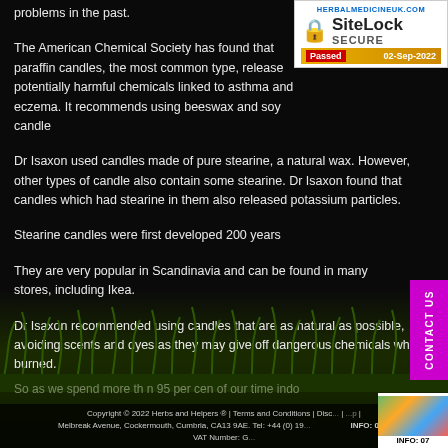problems in the past.
[Figure (other): SiteLock SECURE badge from herbalmedicineuk.com, Passed 02-Sep-2022]
The American Chemical Society has found that paraffin candles, the most common type, release potentially harmful chemicals linked to asthma and eczema. It recommends using beeswax and soy candles instead.
Dr Isaxon used candles made of pure stearine, a natural wax. However, other types of candle also contain some stearine. Dr Isaxon found that candles which had stearine in them also released potassium particles.
Stearine candles were first developed 200 years
[Figure (other): CONTACT US vertical tab button in magenta/pink]
They are very popular in Scandinavia and can be found in many stores, including Ikea.
Dr Isaxon recommended using candles that are as natural as possible, avoiding scents and dyes as they may give off dangerous chemicals when burned.
So as we spend more than 95 per cent of our time indo
Copyright © 2022 Herbs and Helpers ® | Terms and Conditions | Disc... | ...p | Melbreak Avenue, Cockermouth, Cumbria, CA13 9AE. Tel: +44 (0) 19... INFO: 07... VAT Number: G...